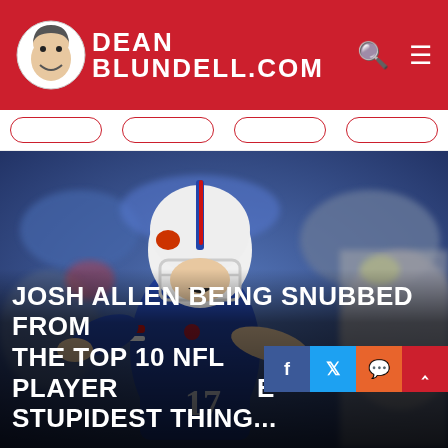DEAN BLUNDELL.COM
[Figure (photo): Buffalo Bills quarterback Josh Allen (#17) in white helmet and blue jersey preparing to throw a pass, crowd in background]
JOSH ALLEN BEING SNUBBED FROM THE TOP 10 NFL PLAYER... STUPIDEST THING...